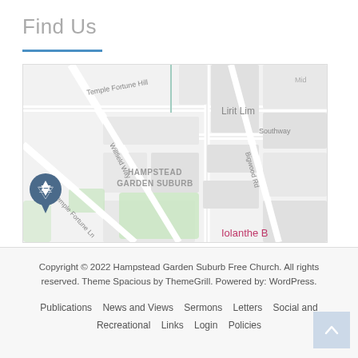Find Us
[Figure (map): Google Maps embed showing Hampstead Garden Suburb area. Shows Temple Fortune Hill, Willfield Way, Temple Fortune Ln, Hampstead Garden Suburb label, Bigwood Rd, Southway, Lirit Lim..., and a Star of David map marker pin on the left. Iolanthe B... visible in pink text at bottom right.]
Copyright © 2022 Hampstead Garden Suburb Free Church. All rights reserved. Theme Spacious by ThemeGrill. Powered by: WordPress.
Publications   News and Views   Sermons   Letters   Social and Recreational   Links   Login   Policies